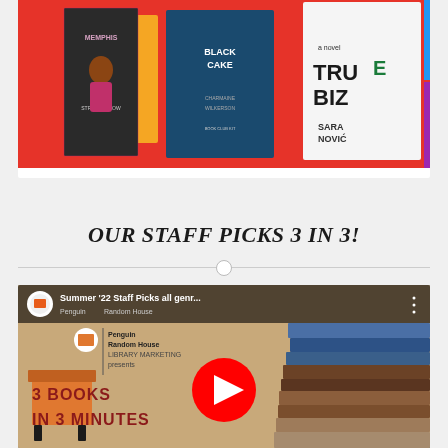[Figure (photo): Book club kit banner showing multiple book covers including Memphis, Black Cake, and True Biz on a red background]
OUR STAFF PICKS 3 IN 3!
[Figure (screenshot): YouTube video thumbnail for 'Summer '22 Staff Picks all genr...' by Penguin Random House Library Marketing showing 3 Books in 3 Minutes with a stack of books and YouTube play button]